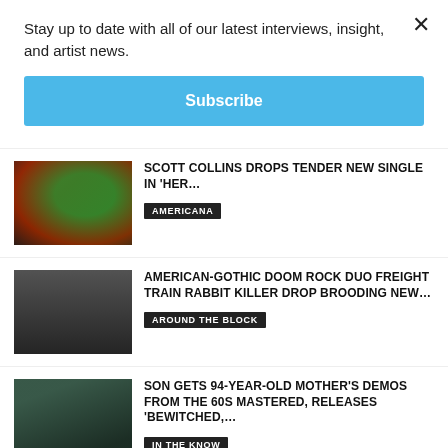Stay up to date with all of our latest interviews, insight, and artist news.
Subscribe
×
SCOTT COLLINS DROPS TENDER NEW SINGLE IN 'HER…
AMERICANA
AMERICAN-GOTHIC DOOM ROCK DUO FREIGHT TRAIN RABBIT KILLER DROP BROODING NEW…
AROUND THE BLOCK
SON GETS 94-YEAR-OLD MOTHER'S DEMOS FROM THE 60S MASTERED, RELEASES 'BEWITCHED,…
IN THE KNOW
RECORD REVIEW: CONTEMPORARY FOLK